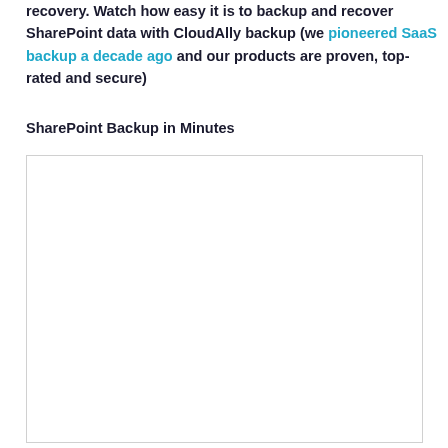recovery. Watch how easy it is to backup and recover SharePoint data with CloudAlly backup (we pioneered SaaS backup a decade ago and our products are proven, top-rated and secure)
SharePoint Backup in Minutes
[Figure (screenshot): Embedded video or screenshot area showing SharePoint Backup interface]